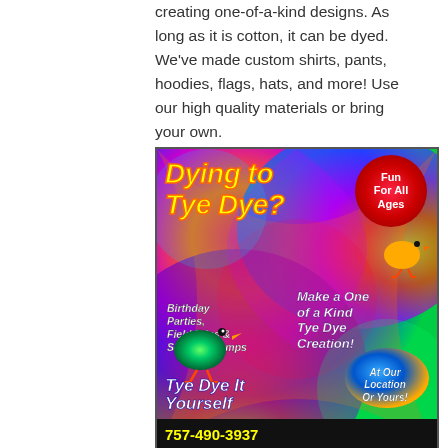creating one-of-a-kind designs. As long as it is cotton, it can be dyed. We've made custom shirts, pants, hoodies, flags, hats, and more! Use our high quality materials or bring your own.
[Figure (illustration): Colorful tie-dye advertisement with text 'Dying to Tye Dye?' in yellow, featuring birds and text about birthday parties, field trips, summer camps, making one of a kind tye dye creations, tye dye it yourself, phone number 757-490-3937, and at our location or yours.]